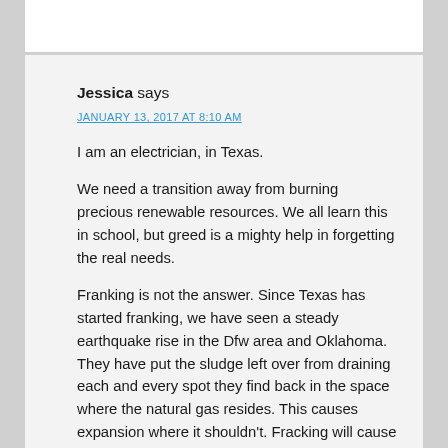Jessica says
JANUARY 13, 2017 AT 8:10 AM
I am an electrician, in Texas.
We need a transition away from burning precious renewable resources. We all learn this in school, but greed is a mighty help in forgetting the real needs.
Franking is not the answer. Since Texas has started franking, we have seen a steady earthquake rise in the Dfw area and Oklahoma. They have put the sludge left over from draining each and every spot they find back in the space where the natural gas resides. This causes expansion where it shouldn't. Fracking will cause Yellow stone to blow. Yes, our county sits atop a giant, for lack of a better term, pimple on the planets